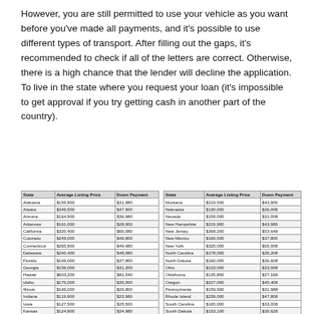However, you are still permitted to use your vehicle as you want before you've made all payments, and it's possible to use different types of transport. After filling out the gaps, it's recommended to check if all of the letters are correct. Otherwise, there is a high chance that the lender will decline the application. To live in the state where you request your loan (it's impossible to get approval if you try getting cash in another part of the country).
| State | Average Listing Price | Down Payment |
| --- | --- | --- |
| Alabama | $159,900 | $31,980 |
| Alaska | $249,500 | $47,900 |
| Arizona | $164,900 | $36,980 |
| Arkansas | $161,000 | $28,900 |
| California | $320,400 | $66,080 |
| Colorado | $249,000 | $49,800 |
| Connecticut | $265,900 | $49,980 |
| Delaware | $240,400 | $48,080 |
| Florida | $169,000 | $37,800 |
| Georgia | $156,000 | $31,200 |
| Hawaii | $603,200 | $82,040 |
| Idaho | $175,000 | $35,000 |
| Illinois | $149,000 | $29,800 |
| Indiana | $119,900 | $23,980 |
| Iowa | $127,500 | $25,500 |
| Kansas | $124,900 | $24,980 |
| Kentucky | $137,500 | $27,500 |
| Louisiana | $161,300 | $32,700 |
| Maine | $180,900 | $37,980 |
| State | Average Listing Price | Down Payment |
| --- | --- | --- |
| Montana | $219,500 | $43,900 |
| Nebraska | $130,000 | $26,000 |
| Nevada | $159,000 | $31,008 |
| New Hampshire | $219,900 | $43,980 |
| New Jersey | $268,200 | $53,648 |
| New Mexico | $169,000 | $37,800 |
| New York | $325,000 | $65,008 |
| North Carolina | $178,000 | $35,208 |
| North Dakota | $160,000 | $36,608 |
| Ohio | $133,000 | $23,008 |
| Oklahoma | $135,800 | $27,168 |
| Oregon | $227,000 | $45,408 |
| Pennsylvania | $159,900 | $31,988 |
| Rhode Island | $239,000 | $47,808 |
| South Carolina | $165,000 | $33,008 |
| South Dakota | $153,100 | $30,628 |
| Tennessee | $149,900 | $29,988 |
| Texas | $172,900 | $34,588 |
| Utah | $219,000 | $43,808 |